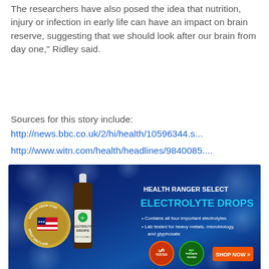The researchers have also posed the idea that nutrition, injury or infection in early life can have an impact on brain reserve, suggesting that we should look after our brain from day one," Ridley said.
Sources for this story include:
http://news.bbc.co.uk/2/hi/health/10596344.s...
http://www.witn.com/health/headlines/9840085....
[Figure (infographic): Advertisement banner for Health Ranger Select Electrolyte Drops on a dark blue water splash background. Shows a brown dropper bottle labeled ELECTROLYTE DROPS 2 FL OZ (59ML), a circular badge reading DERIVED FROM UTAH GREAT SALT LAKE, bullet points: Contains all four important electrolytes; Lab tested for heavy metals, microbiology, and glyphosate. Orange SHOP NOW > button. Two certification badges.]
[Figure (infographic): Advertisement for GoodGopher.com search engine showing a cartoon gopher mascot and text Search on GoodGopher.com on a tan/beige background.]